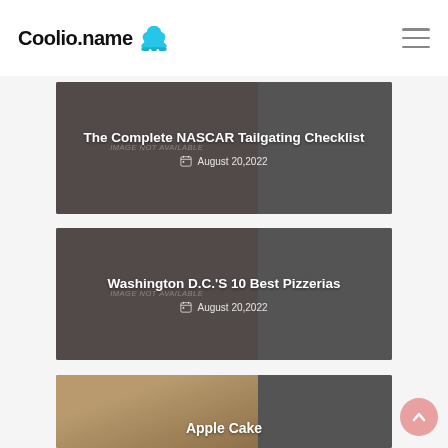Coolio.name
[Figure (photo): Article card: The Complete NASCAR Tailgating Checklist — IMAGE NOT AVAILABLE placeholder — August 20,2022]
[Figure (photo): Article card: Washington D.C.'S 10 Best Pizzerias — IMAGE NOT AVAILABLE placeholder — August 20,2022]
[Figure (photo): Article card: Apple Cake — partial card with food photo visible at bottom]